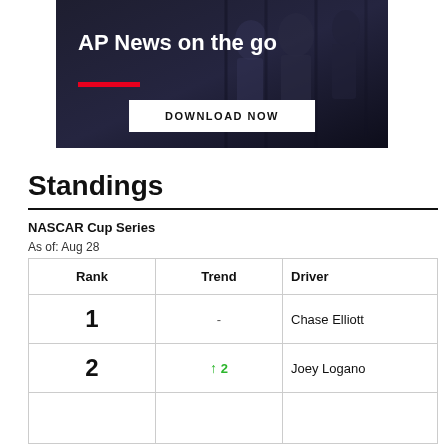[Figure (photo): AP News on the go advertisement banner with dark background showing silhouettes of people, red underline bar, and a 'DOWNLOAD NOW' button]
Standings
NASCAR Cup Series
As of: Aug 28
| Rank | Trend | Driver |
| --- | --- | --- |
| 1 | - | Chase Elliott |
| 2 | ↑ 2 | Joey Logano |
|  |  |  |